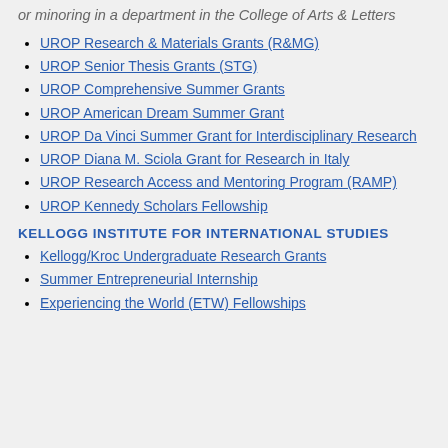or minoring in a department in the College of Arts & Letters
UROP Research & Materials Grants (R&MG)
UROP Senior Thesis Grants (STG)
UROP Comprehensive Summer Grants
UROP American Dream Summer Grant
UROP Da Vinci Summer Grant for Interdisciplinary Research
UROP Diana M. Sciola Grant for Research in Italy
UROP Research Access and Mentoring Program (RAMP)
UROP Kennedy Scholars Fellowship
KELLOGG INSTITUTE FOR INTERNATIONAL STUDIES
Kellogg/Kroc Undergraduate Research Grants
Summer Entrepreneurial Internship
Experiencing the World (ETW) Fellowships